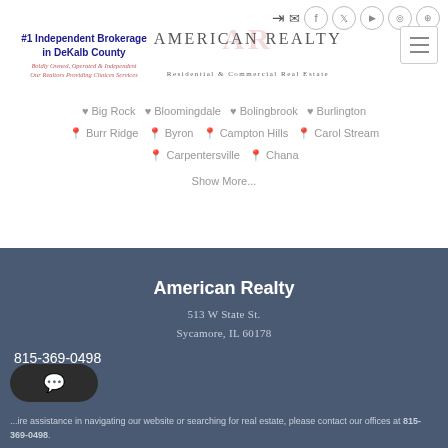#1 Independent Brokerage in DeKalb County
[Figure (logo): American Realty logo with AR ghost letters and tagline Residential & Commercial Real Estate]
Big Rock  Bloomingdale  Bolingbrook  Burlington
Burr Ridge  Byron  Campton Hills  Carol Stream
Carpentersville  Chana
Show More...
American Realty
513 W State St.
Sycamore, IL 60178
815-369-0498
...ire assistance in navigating our website or searching for real estate, please contact our offices at 815-369-0498.